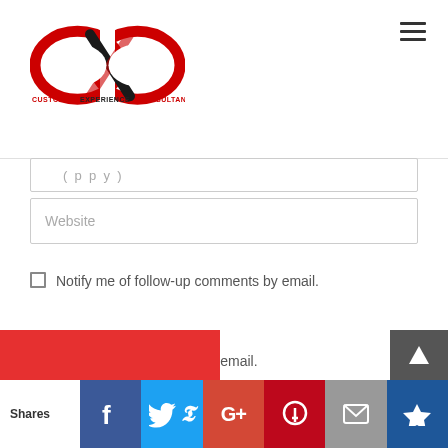[Figure (logo): CXO Customer Experience Consultancy logo — a red infinity loop with black X in the center, and text 'CUSTOMER EXPERIENCE CONSULTANCY' in red and dark below]
[Figure (illustration): Hamburger menu icon (three horizontal lines) in top-right corner]
Website
Notify me of follow-up comments by email.
Notify me of new posts by email.
[Figure (infographic): Social share bar at bottom with labels: Shares | Facebook | Twitter | G+ | Pinterest | Email | Crown icon. Also a red submit button partially visible and a grey scroll-up arrow button.]